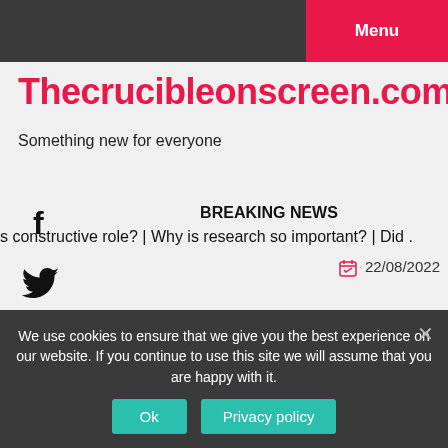Menu
Thecrucibleonscreen.com
Something new for everyone
BREAKING NEWS
s constructive role?  |  Why is research so important?  |  Did .
22/08/2022
We use cookies to ensure that we give you the best experience on our website. If you continue to use this site we will assume that you are happy with it.